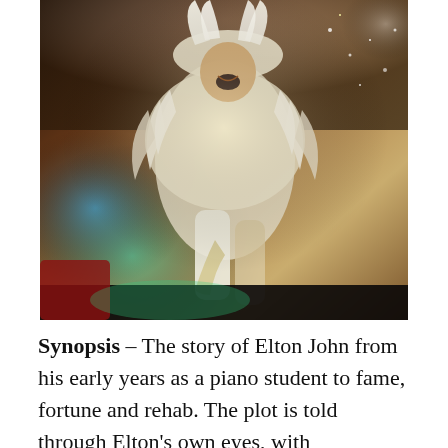[Figure (photo): A performer in a flamboyant white feathered costume and hat, jumping energetically on stage with bright stage lighting including green and teal lights, crowd visible in background — appears to be a movie still from Rocketman (Elton John biopic).]
Synopsis – The story of Elton John from his early years as a piano student to fame, fortune and rehab. The plot is told through Elton's own eyes, with performances at the...